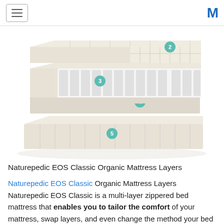≡  M
[Figure (illustration): Exploded cross-section diagram of the Naturepedic EOS Classic Organic Mattress showing 5 numbered layers: layer 2 at top (beige foam/quilted panels), layer 3 (coil spring unit with beige surround), layer 4 (flat transitional layer), and layer 5 (base/foundation box spring). Teal numbered circles label each layer.]
Naturepedic EOS Classic Organic Mattress Layers
Naturepedic EOS Classic Organic Mattress Layers Naturepedic EOS Classic is a multi-layer zippered bed mattress that enables you to tailor the comfort of your mattress, swap layers, and even change the method your bed mattress feels years later on. This is what you find